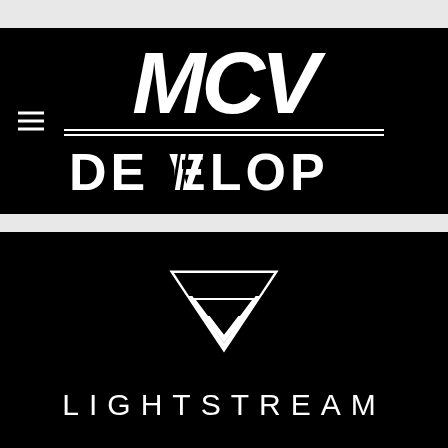[Figure (logo): MCV Develop logo — white bold italic letters MCV above two horizontal lines above the word DEVELOP in bold white caps, all on black background with hamburger menu icon on left]
[Figure (logo): Lightstream logo — geometric inverted triangle/arrow chevron icon above the word LIGHTSTREAM in white spaced-out thin caps on black background]